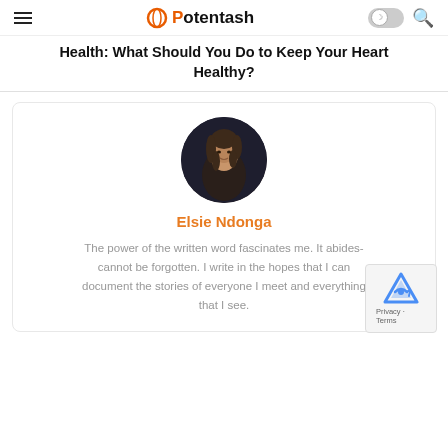Potentash
Health: What Should You Do to Keep Your Heart Healthy?
[Figure (photo): Circular profile photo of Elsie Ndonga, a woman with braided hair, looking to the side, dark background]
Elsie Ndonga
The power of the written word fascinates me. It abides- cannot be forgotten. I write in the hopes that I can document the stories of everyone I meet and everything that I see.